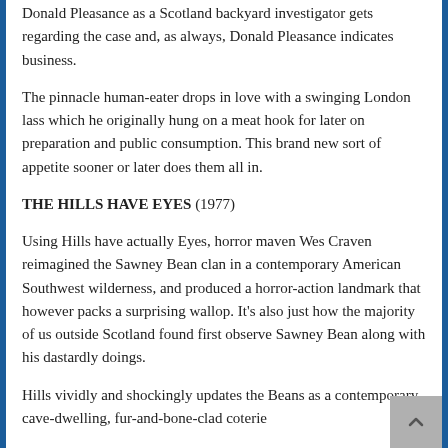Donald Pleasance as a Scotland backyard investigator gets regarding the case and, as always, Donald Pleasance indicates business.
The pinnacle human-eater drops in love with a swinging London lass which he originally hung on a meat hook for later on preparation and public consumption. This brand new sort of appetite sooner or later does them all in.
THE HILLS HAVE EYES (1977)
Using Hills have actually Eyes, horror maven Wes Craven reimagined the Sawney Bean clan in a contemporary American Southwest wilderness, and produced a horror-action landmark that however packs a surprising wallop. It’s also just how the majority of us outside Scotland found first observe Sawney Bean along with his dastardly doings.
Hills vividly and shockingly updates the Beans as a contemporary, cave-dwelling, fur-and-bone-clad coterie